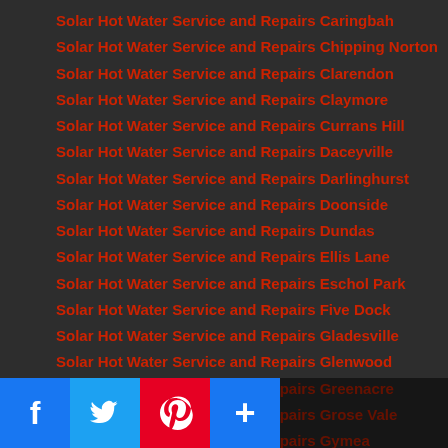Solar Hot Water Service and Repairs Caringbah
Solar Hot Water Service and Repairs Chipping Norton
Solar Hot Water Service and Repairs Clarendon
Solar Hot Water Service and Repairs Claymore
Solar Hot Water Service and Repairs Currans Hill
Solar Hot Water Service and Repairs Daceyville
Solar Hot Water Service and Repairs Darlinghurst
Solar Hot Water Service and Repairs Doonside
Solar Hot Water Service and Repairs Dundas
Solar Hot Water Service and Repairs Ellis Lane
Solar Hot Water Service and Repairs Eschol Park
Solar Hot Water Service and Repairs Five Dock
Solar Hot Water Service and Repairs Gladesville
Solar Hot Water Service and Repairs Glenwood
Solar Hot Water Service and Repairs Greenacre
Solar Hot Water Service and Repairs Grose Vale
Solar Hot Water Service and Repairs Gymea
Solar Hot Water Service and Repairs Haymarket
Solar Hot Water Service and Repairs Ingleburn